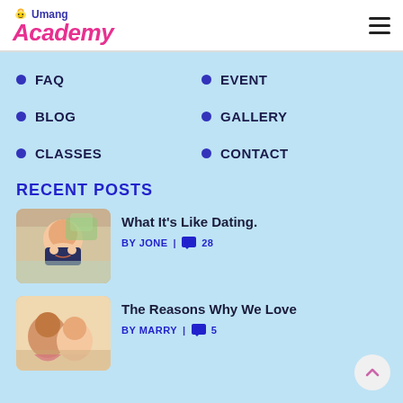Umang Academy
FAQ
EVENT
BLOG
GALLERY
CLASSES
CONTACT
RECENT POSTS
What It's Like Dating.
BY JONE | 28
The Reasons Why We Love
BY MARRY | 5